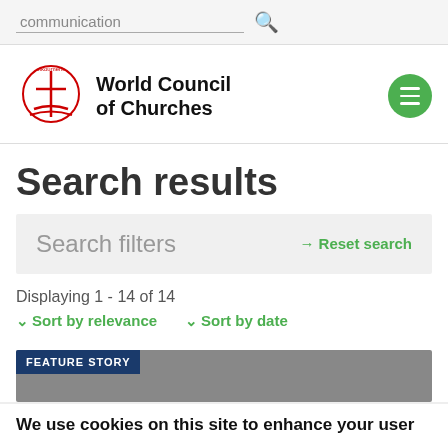[Figure (screenshot): Search bar with text 'communication' and green search icon on grey background]
[Figure (logo): World Council of Churches logo with red cross/boat symbol and green hamburger menu button]
Search results
Search filters
→ Reset search
Displaying 1 - 14 of 14
Sort by relevance   Sort by date
FEATURE STORY
We use cookies on this site to enhance your user